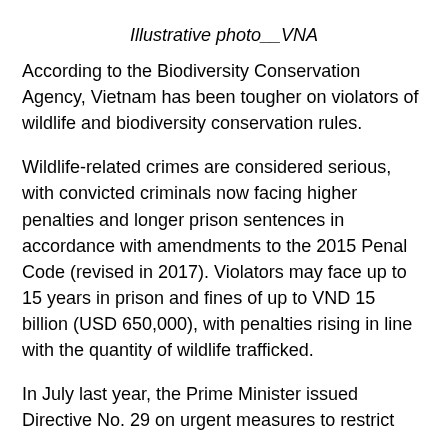Illustrative photo__VNA
According to the Biodiversity Conservation Agency, Vietnam has been tougher on violators of wildlife and biodiversity conservation rules.
Wildlife-related crimes are considered serious, with convicted criminals now facing higher penalties and longer prison sentences in accordance with amendments to the 2015 Penal Code (revised in 2017). Violators may face up to 15 years in prison and fines of up to VND 15 billion (USD 650,000), with penalties rising in line with the quantity of wildlife trafficked.
In July last year, the Prime Minister issued Directive No. 29 on urgent measures to restrict